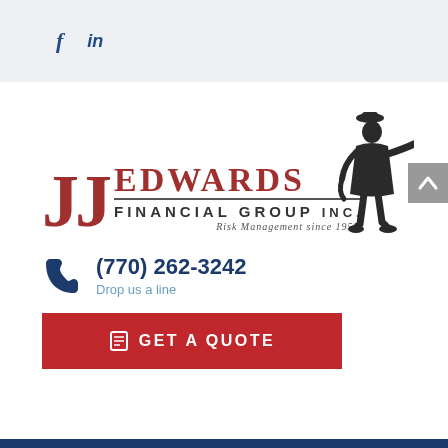f  in
[Figure (logo): JJ Edwards Financial Group Inc. logo with silhouette figure and tagline 'Risk Management since 1955']
(770) 262-3242
Drop us a line
GET A QUOTE